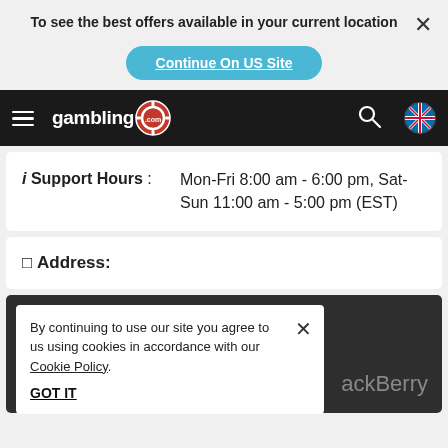To see the best offers available in your current location
Continue On US Site
gambling.com navigation bar
i Support Hours : Mon-Fri 8:00 am - 6:00 pm, Sat-Sun 11:00 am - 5:00 pm (EST)
☐ Address:
By continuing to use our site you agree to us using cookies in accordance with our Cookie Policy.
GOT IT
ackBerry